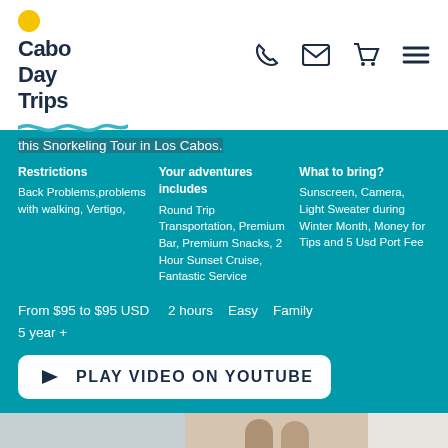[Figure (logo): Cabo Day Trips logo with yellow dot and teal wave underline]
[Figure (infographic): Navigation icons: phone, email, cart, hamburger menu]
this Snorkeling Tour in Los Cabos.
Restrictions
Back Problems,problems with walking, Vertigo,
Your adventures includes
Round Trip Transportation, Premium Bar, Premium Snacks, 2 Hour Sunset Cruise, Fantastic Service
What to bring?
Sunscreen, Camera, Light Sweater during Winter Month, Money for Tips and 5 Usd Port Fee
From $95 to $95 USD   2 hours   Easy   Family
5 year +
[Figure (infographic): Play Video on YouTube button with YouTube icon]
[Figure (photo): Photo strip showing people at the bottom of the page]